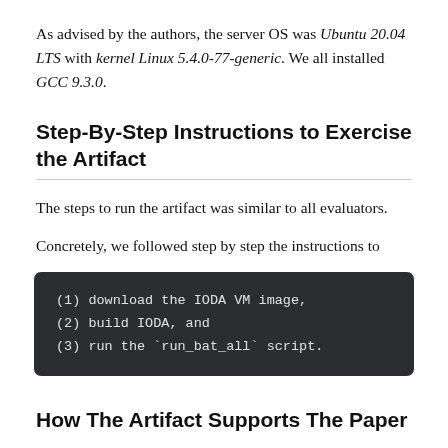As advised by the authors, the server OS was Ubuntu 20.04 LTS with kernel Linux 5.4.0-77-generic. We all installed GCC 9.3.0.
Step-By-Step Instructions to Exercise the Artifact
The steps to run the artifact was similar to all evaluators.
Concretely, we followed step by step the instructions to
(1) download the IODA VM image,
(2) build IODA, and
(3) run the `run_bat_all` script.
How The Artifact Supports The Paper